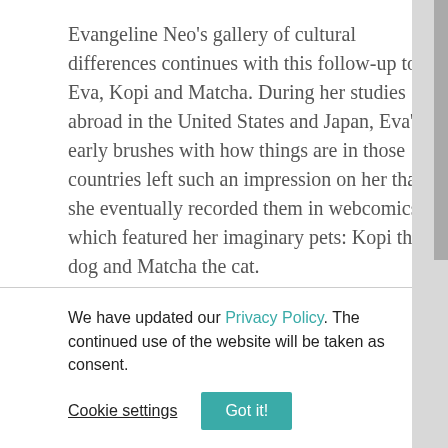Evangeline Neo's gallery of cultural differences continues with this follow-up to Eva, Kopi and Matcha. During her studies abroad in the United States and Japan, Eva's early brushes with how things are in those countries left such an impression on her that she eventually recorded them in webcomics, which featured her imaginary pets: Kopi the dog and Matcha the cat.

In this volume, readers are also regaled with often hilarious anecdotes of life abroad and comparisons between her home country of Singapore and places
We have updated our Privacy Policy. The continued use of the website will be taken as consent.
Cookie settings
Got it!